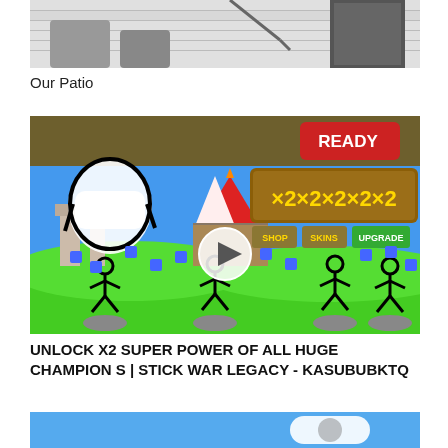[Figure (photo): Top partial photo of a patio area with outdoor furniture and a door visible]
Our Patio
[Figure (screenshot): Screenshot of Stick War Legacy mobile game showing stick figure champions with x2x2x2x2x2 multiplier display, SHOP, SKINS, UPGRADE buttons, READY button, and a play button overlay]
UNLOCK X2 SUPER POWER OF ALL HUGE CHAMPIONS | STICK WAR LEGACY - KASUBUBKTQ
[Figure (screenshot): Partial bottom screenshot with blue background and partial white logo/icon visible]